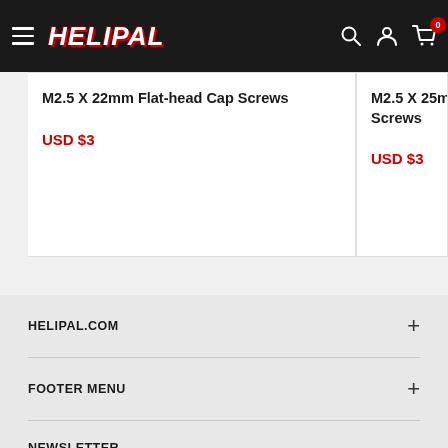HELIPAL
M2.5 X 22mm Flat-head Cap Screws
USD $3
M2.5 X 25mm Flat-head Screws
USD $3
HELIPAL.COM
FOOTER MENU
NEWSLETTER
Please subscribe to get the most updated product information.